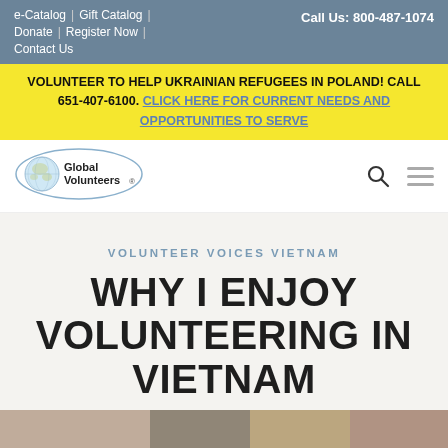e-Catalog | Gift Catalog | Donate | Register Now | Contact Us   Call Us: 800-487-1074
VOLUNTEER TO HELP UKRAINIAN REFUGEES IN POLAND! CALL 651-407-6100. CLICK HERE FOR CURRENT NEEDS AND OPPORTUNITIES TO SERVE
[Figure (logo): Global Volunteers logo — oval shape with world map, text 'Global Volunteers']
VOLUNTEER VOICES VIETNAM
WHY I ENJOY VOLUNTEERING IN VIETNAM
[Figure (photo): Partial bottom strip of a photo showing people, partially visible]